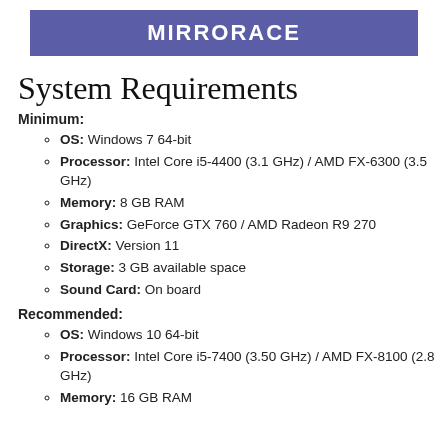MIRRORACE
System Requirements
Minimum:
OS: Windows 7 64-bit
Processor: Intel Core i5-4400 (3.1 GHz) / AMD FX-6300 (3.5 GHz)
Memory: 8 GB RAM
Graphics: GeForce GTX 760 / AMD Radeon R9 270
DirectX: Version 11
Storage: 3 GB available space
Sound Card: On board
Recommended:
OS: Windows 10 64-bit
Processor: Intel Core i5-7400 (3.50 GHz) / AMD FX-8100 (2.8 GHz)
Memory: 16 GB RAM